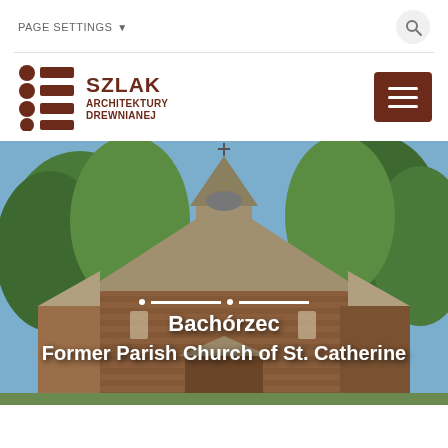PAGE SETTINGS
[Figure (logo): Szlak Architektury Drewnianej logo with wooden architecture icon and stylized name]
[Figure (photo): Exterior photo of former parish wooden church of St. Catherine in Bachórzec surrounded by trees, with text overlays 'Bachórzec' and 'Former Parish Church of St. Catherine']
Bachórzec
Former Parish Church of St. Catherine